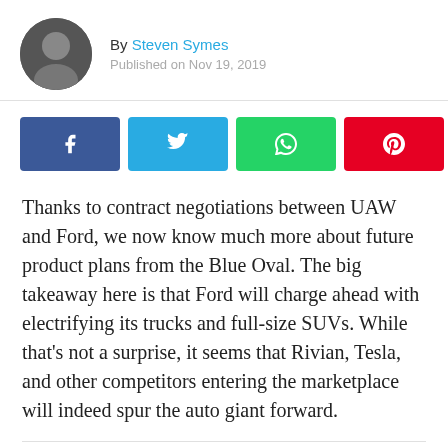By Steven Symes
Published on Nov 19, 2019
[Figure (infographic): Social share buttons: Facebook (blue), Twitter (light blue), WhatsApp (green), Pinterest (red), Email (gray), and a comment icon]
Thanks to contract negotiations between UAW and Ford, we now know much more about future product plans from the Blue Oval. The big takeaway here is that Ford will charge ahead with electrifying its trucks and full-size SUVs. While that's not a surprise, it seems that Rivian, Tesla, and other competitors entering the marketplace will indeed spur the auto giant forward.
SPONSORED
Production of a all-new F-150 should begin in